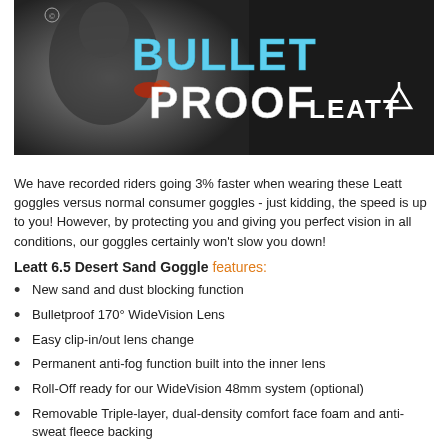[Figure (photo): Leatt 'Bullet Proof' banner image showing a motocross rider on the left side with blue 'BULLET' and white 'PROOF' text overlay, and the Leatt logo on the dark right side]
We have recorded riders going 3% faster when wearing these Leatt goggles versus normal consumer goggles - just kidding, the speed is up to you! However, by protecting you and giving you perfect vision in all conditions, our goggles certainly won't slow you down!
Leatt 6.5 Desert Sand Goggle features:
New sand and dust blocking function
Bulletproof 170° WideVision Lens
Easy clip-in/out lens change
Permanent anti-fog function built into the inner lens
Roll-Off ready for our WideVision 48mm system (optional)
Removable Triple-layer, dual-density comfort face foam and anti-sweat fleece backing
Self-draining open lower frame design allows dirt to fall from the lens
Out-riggers with a 50mm anti-slip coated strap